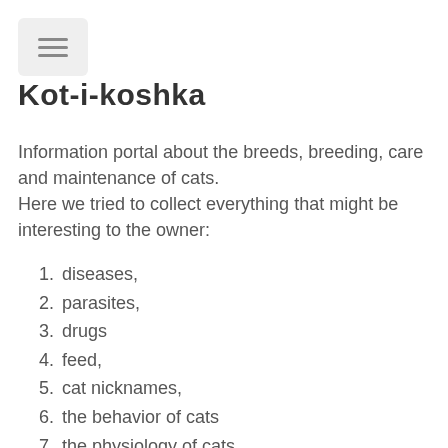Kot-i-koshka
Information portal about the breeds, breeding, care and maintenance of cats.
Here we tried to collect everything that might be interesting to the owner:
diseases,
parasites,
drugs
feed,
cat nicknames,
the behavior of cats
the physiology of cats,
cat anatomy,